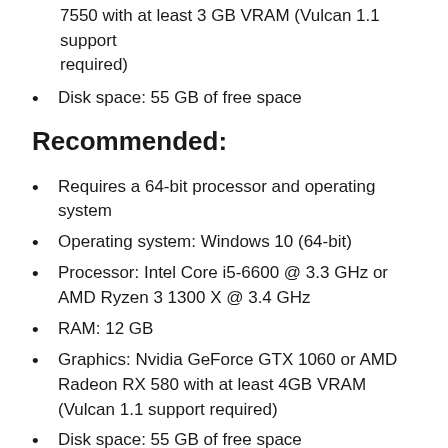7550 with at least 3 GB VRAM (Vulcan 1.1 support required)
Disk space: 55 GB of free space
Recommended:
Requires a 64-bit processor and operating system
Operating system: Windows 10 (64-bit)
Processor: Intel Core i5-6600 @ 3.3 GHz or AMD Ryzen 3 1300 X @ 3.4 GHz
RAM: 12 GB
Graphics: Nvidia GeForce GTX 1060 or AMD Radeon RX 580 with at least 4GB VRAM (Vulcan 1.1 support required)
Disk space: 55 GB of free space
Screenshots: